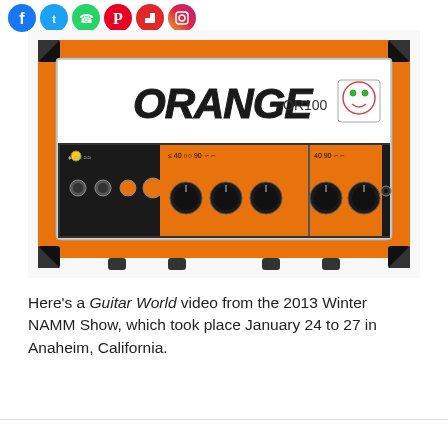[Figure (illustration): Six social media share icons in a row: Facebook (blue), Twitter (light blue), WhatsApp (green), Pinterest (red), Flipboard (red), and Instagram (gradient camera icon)]
[Figure (photo): Orange amplifier head unit labeled 'ORANGE OR100' with black knobs, orange Tolex covering, black corner protectors, and control panel with two channels]
Here's a Guitar World video from the 2013 Winter NAMM Show, which took place January 24 to 27 in Anaheim, California.